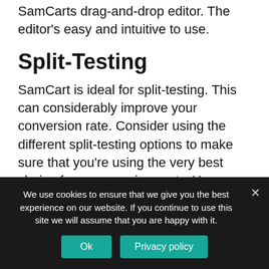SamCarts drag-and-drop editor. The editor's easy and intuitive to use.
Split-Testing
SamCart is ideal for split-testing. This can considerably improve your conversion rate. Consider using the different split-testing options to make sure that you’re using the very best choice for your requirements. You can try as many as you like.
Order Bump Offers
We use cookies to ensure that we give you the best experience on our website. If you continue to use this site we will assume that you are happy with it.